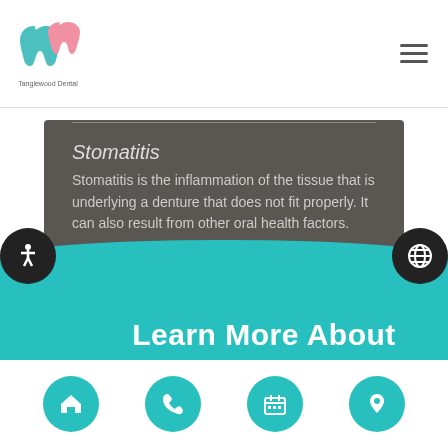[Figure (logo): Tanglewood Dental logo: tooth icon with teal and pink colors, text 'Tanglewood Dental' below]
Stomatitis
Stomatitis is the inflammation of the tissue that is underlying a denture that does not fit properly. It can also result from other oral health factors.
Learn More About